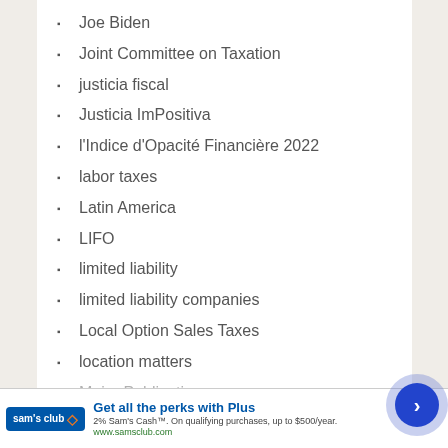Joe Biden
Joint Committee on Taxation
justicia fiscal
Justicia ImPositiva
l'Indice d'Opacité Financière 2022
labor taxes
Latin America
LIFO
limited liability
limited liability companies
Local Option Sales Taxes
location matters
Major Publications
[Figure (screenshot): Sam's Club advertisement banner: 'Get all the perks with Plus. 2% Sam's Cash™. On qualifying purchases, up to $500/year. www.samsclub.com']